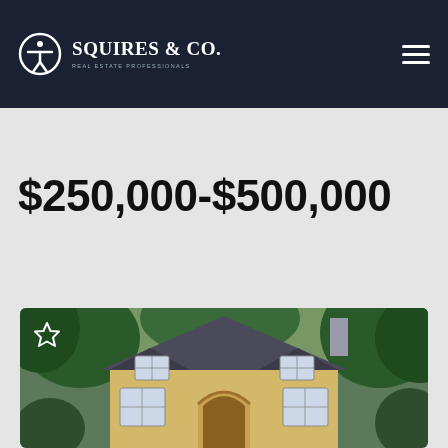[Figure (logo): Squires & Co. Real Estate Professionals logo with accessibility icon on dark navy header bar]
$250,000-$500,000
[Figure (photo): A two-story yellow house with a peaked roof, arched entryway, and surrounded by green trees]